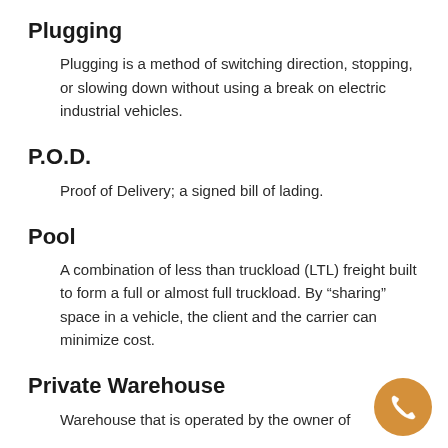Plugging
Plugging is a method of switching direction, stopping, or slowing down without using a break on electric industrial vehicles.
P.O.D.
Proof of Delivery; a signed bill of lading.
Pool
A combination of less than truckload (LTL) freight built to form a full or almost full truckload. By “sharing” space in a vehicle, the client and the carrier can minimize cost.
Private Warehouse
Warehouse that is operated by the owner of…